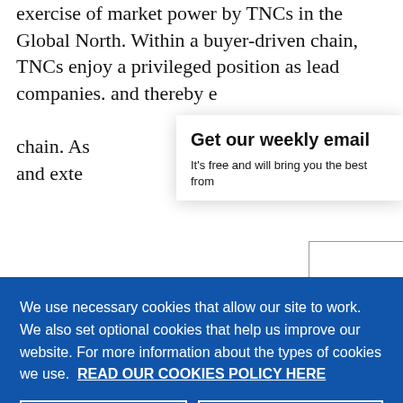exercise of market power by TNCs in the Global North. Within a buyer-driven chain, TNCs enjoy a privileged position as lead companies. and thereby e... chain. As... and exte...
We use necessary cookies that allow our site to work. We also set optional cookies that help us improve our website. For more information about the types of cookies we use. READ OUR COOKIES POLICY HERE
COOKIE SETTINGS
ALLOW ALL COOKIES
Get our weekly email
It's free and will bring you the best from
data.
suppliers